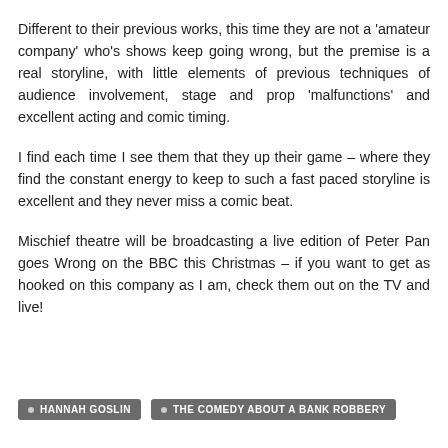Different to their previous works, this time they are not a 'amateur company' who's shows keep going wrong, but the premise is a real storyline, with little elements of previous techniques of audience involvement, stage and prop 'malfunctions' and excellent acting and comic timing.
I find each time I see them that they up their game – where they find the constant energy to keep to such a fast paced storyline is excellent and they never miss a comic beat.
Mischief theatre will be broadcasting a live edition of Peter Pan goes Wrong on the BBC this Christmas – if you want to get as hooked on this company as I am, check them out on the TV and live!
HANNAH GOSLIN
THE COMEDY ABOUT A BANK ROBBERY